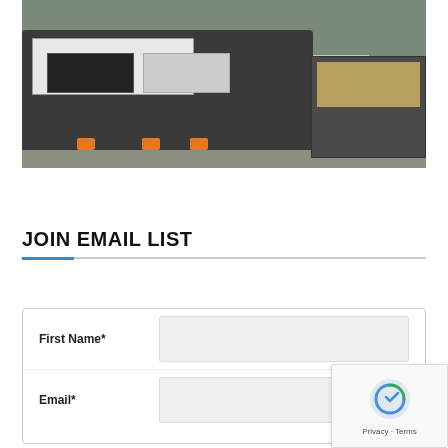[Figure (photo): CNC lathe or turning machine in a manufacturing facility, shown in gray/black with orange leveling pads, with a material cart on the right side containing boxes/materials]
JOIN EMAIL LIST
First Name*
Email*